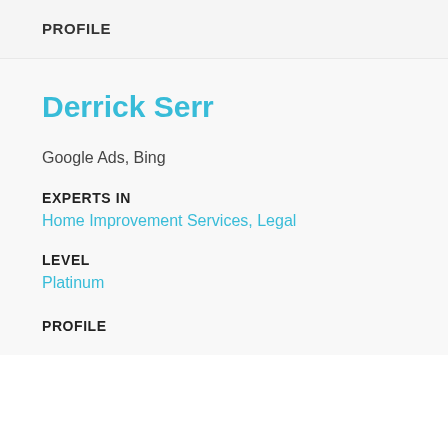PROFILE
Derrick Serr
Google Ads, Bing
EXPERTS IN
Home Improvement Services, Legal
LEVEL
Platinum
PROFILE